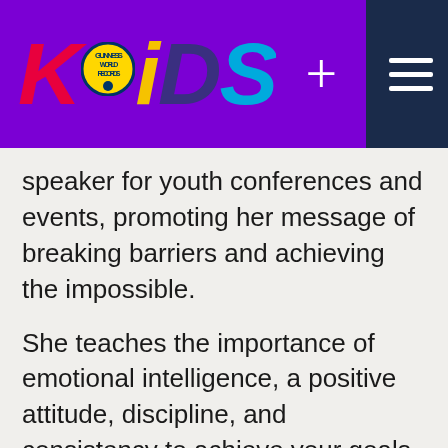[Figure (logo): Guinness World Records KIDS logo with colorful letters K-I-D-S on purple background, with navigation icons (plus and hamburger menu)]
speaker for youth conferences and events, promoting her message of breaking barriers and achieving the impossible.
She teaches the importance of emotional intelligence, a positive attitude, discipline, and consistency to achieve your goals.
Find out the latest from around...
We use cookies on this website. By using this site, you agree that we may store and access cookies on your device.
✓ Continue